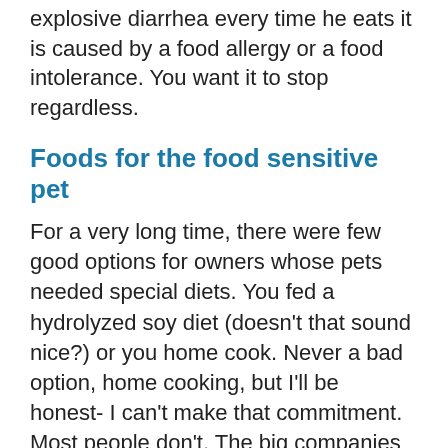explosive diarrhea every time he eats it is caused by a food allergy or a food intolerance. You want it to stop regardless.
Foods for the food sensitive pet
For a very long time, there were few good options for owners whose pets needed special diets. You fed a hydrolyzed soy diet (doesn't that sound nice?) or you home cook. Never a bad option, home cooking, but I'll be honest- I can't make that commitment. Most people don't. The big companies have done an excellent job of creating limited ingredient prescription diets, and smaller companies have more recently responded